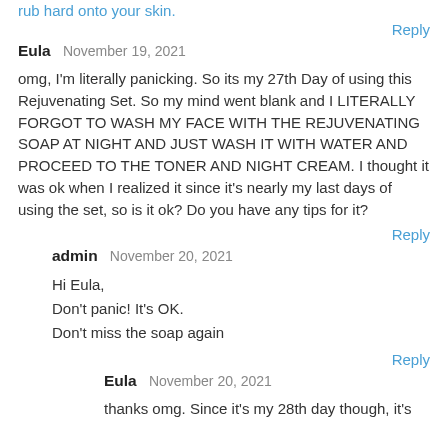rub hard onto your skin.
Reply
Eula  November 19, 2021
omg, I'm literally panicking. So its my 27th Day of using this Rejuvenating Set. So my mind went blank and I LITERALLY FORGOT TO WASH MY FACE WITH THE REJUVENATING SOAP AT NIGHT AND JUST WASH IT WITH WATER AND PROCEED TO THE TONER AND NIGHT CREAM. I thought it was ok when I realized it since it's nearly my last days of using the set, so is it ok? Do you have any tips for it?
Reply
admin  November 20, 2021
Hi Eula,
Don't panic! It's OK.
Don't miss the soap again
Reply
Eula  November 20, 2021
thanks omg. Since it's my 28th day though, it's